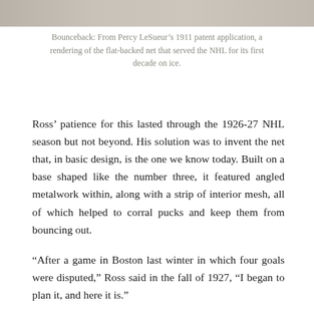[Figure (photo): Partial image at top of page, appears to be a historical photograph or patent drawing, cropped]
Bounceback: From Percy LeSueur’s 1911 patent application, a rendering of the flat-backed net that served the NHL for its first decade on ice.
Ross’ patience for this lasted through the 1926-27 NHL season but not beyond. His solution was to invent the net that, in basic design, is the one we know today. Built on a base shaped like the number three, it featured angled metalwork within, along with a strip of interior mesh, all of which helped to corral pucks and keep them from bouncing out.
“After a game in Boston last winter in which four goals were disputed,” Ross said in the fall of 1927, “I began to plan it, and here it is.”